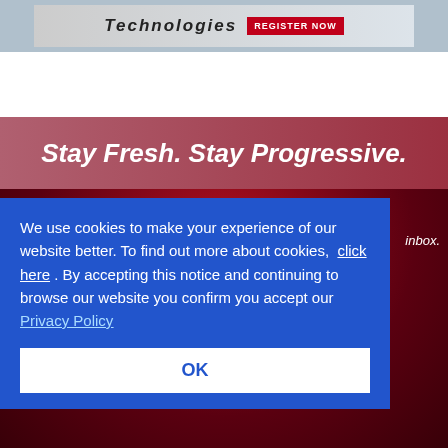[Figure (screenshot): Top advertisement banner with 'Technologies' text and a red Register Now button]
Stay Fresh. Stay Progressive.
Get the Newsletter
inbox.
Get the Magazine
Stay with industry with the magazine, your leading commerce magazine.
We use cookies to make your experience of our website better. To find out more about cookies, click here . By accepting this notice and continuing to browse our website you confirm you accept our Privacy Policy
OK